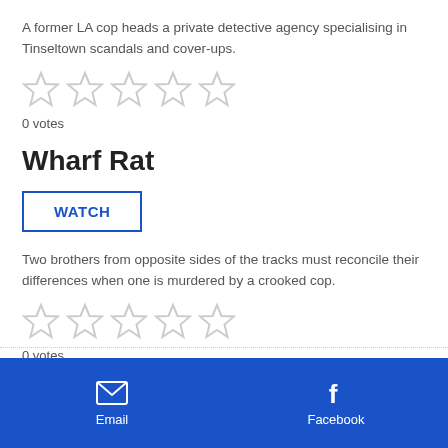A former LA cop heads a private detective agency specialising in Tinseltown scandals and cover-ups.
[Figure (other): Five empty star rating icons]
0 votes
Wharf Rat
WATCH
Two brothers from opposite sides of the tracks must reconcile their differences when one is murdered by a crooked cop.
[Figure (other): Five empty star rating icons]
0 votes
Email  Facebook